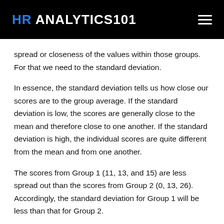HR ANALYTICS101
spread or closeness of the values within those groups. For that we need to the standard deviation.
In essence, the standard deviation tells us how close our scores are to the group average. If the standard deviation is low, the scores are generally close to the mean and therefore close to one another. If the standard deviation is high, the individual scores are quite different from the mean and from one another.
The scores from Group 1 (11, 13, and 15) are less spread out than the scores from Group 2 (0, 13, 26). Accordingly, the standard deviation for Group 1 will be less than that for Group 2.